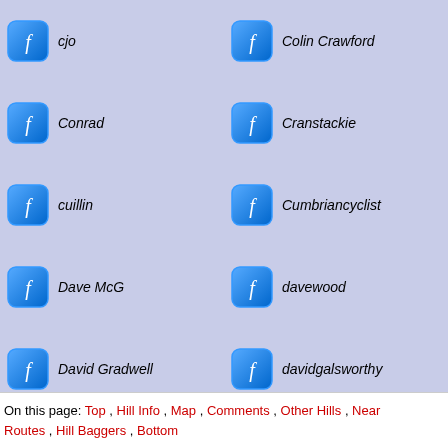cjo
Conrad
cuillin
Dave McG
David Gradwell
davidwhitelock
dobben57
Dolorespearl
drinki
drjohnyoung
ed cody
fergie
Colin Crawford
Cranstackie
Cumbriancyclist
davewood
davidgalsworthy
Denise
doc
donal
drjamesmurray
Dugswell2
Exe-Eagle
ffloss
On this page: Top , Hill Info , Map , Comments , Other Hills , Near Routes , Hill Baggers , Bottom